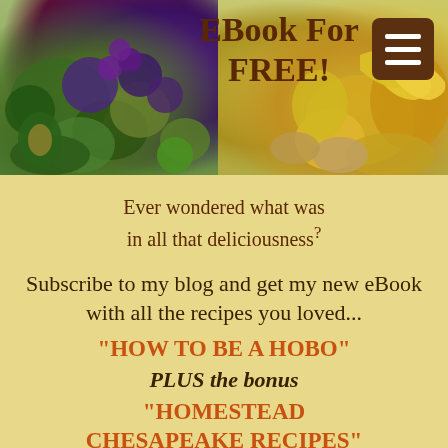[Figure (photo): Header image with colorful fruits and vegetables on both sides, with text 'EBook For FREE!' in the center and a brown hamburger menu button in the top right corner]
Ever wondered what was in all that deliciousness?
Subscribe to my blog and get my new eBook with all the recipes you loved...
"HOW TO BE A HOBO"
PLUS the bonus
"HOMESTEAD CHESAPEAKE RECIPES"
Name
Email*